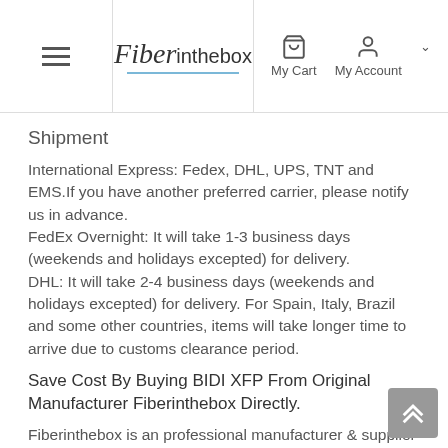Fiberinthebox — My Cart | My Account
Shipment
International Express: Fedex, DHL, UPS, TNT and EMS.If you have another preferred carrier, please notify us in advance.
FedEx Overnight: It will take 1-3 business days (weekends and holidays excepted) for delivery.
DHL: It will take 2-4 business days (weekends and holidays excepted) for delivery. For Spain, Italy, Brazil and some other countries, items will take longer time to arrive due to customs clearance period.
Save Cost By Buying BIDI XFP From Original Manufacturer Fiberinthebox Directly.
Fiberinthebox is an professional manufacturer & supplier of BIDI XFP transceivers. All of our BIDI XFP